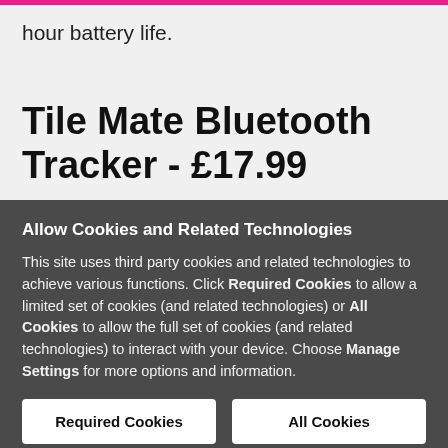hour battery life.
Tile Mate Bluetooth Tracker - £17.99
Allow Cookies and Related Technologies
This site uses third party cookies and related technologies to achieve various functions. Click Required Cookies to allow a limited set of cookies (and related technologies) or All Cookies to allow the full set of cookies (and related technologies) to interact with your device. Choose Manage Settings for more options and information.
Required Cookies
All Cookies
Manage Settings